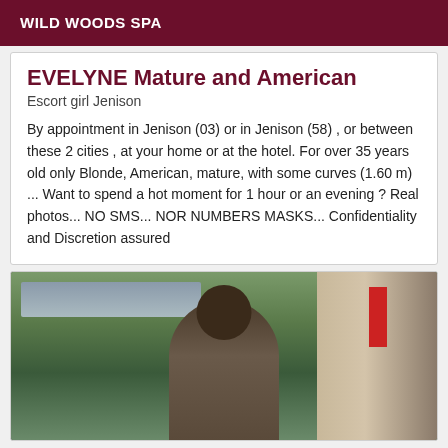WILD WOODS SPA
EVELYNE Mature and American
Escort girl Jenison
By appointment in Jenison (03) or in Jenison (58) , or between these 2 cities , at your home or at the hotel. For over 35 years old only Blonde, American, mature, with some curves (1.60 m) ... Want to spend a hot moment for 1 hour or an evening ? Real photos... NO SMS... NOR NUMBERS MASKS... Confidentiality and Discretion assured
[Figure (photo): Person viewed from behind, standing outdoors near a building with an awning, trees visible in background, red sign on right side]